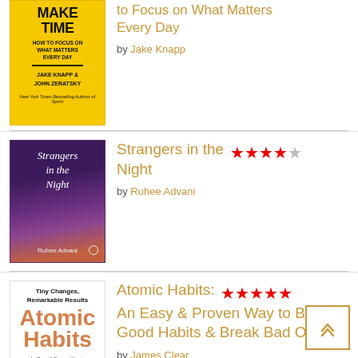[Figure (photo): Book cover of 'Make Time: How to Focus on What Matters Every Day' by Jake Knapp and John Zeratsky, yellow background]
to Focus on What Matters Every Day
by Jake Knapp
[Figure (photo): Book cover of 'Strangers in the Night' by Ruhee Advani, purple night sky with cityscape]
Strangers in the Night
by Ruhee Advani
[Figure (photo): Book cover of 'Atomic Habits: An Easy & Proven Way to Build Good Habits & Break Bad Ones' by James Clear, white cover with large orange text]
Atomic Habits: An Easy & Proven Way to Build Good Habits & Break Bad Ones
by James Clear